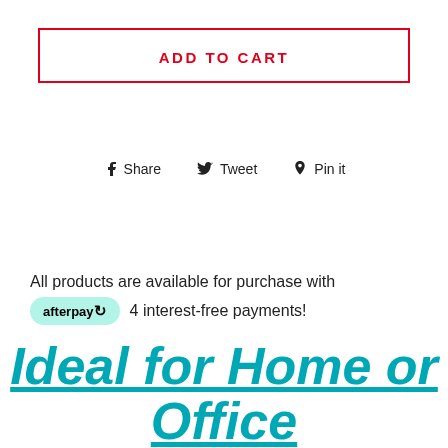ADD TO CART
Share  Tweet  Pin it
All products are available for purchase with afterpay 4 interest-free payments!
Ideal for Home or Office